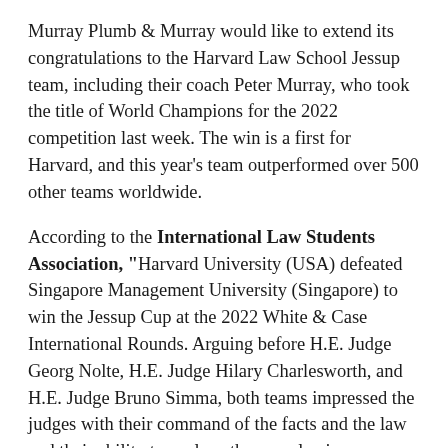Murray Plumb & Murray would like to extend its congratulations to the Harvard Law School Jessup team, including their coach Peter Murray, who took the title of World Champions for the 2022 competition last week. The win is a first for Harvard, and this year's team outperformed over 500 other teams worldwide.
According to the International Law Students Association, "Harvard University (USA) defeated Singapore Management University (Singapore) to win the Jessup Cup at the 2022 White & Case International Rounds. Arguing before H.E. Judge Georg Nolte, H.E. Judge Hilary Charlesworth, and H.E. Judge Bruno Simma, both teams impressed the judges with their command of the facts and the law and their ability to analyze the complex issues involved in the case. In end, the judges were swayed by the respondents'